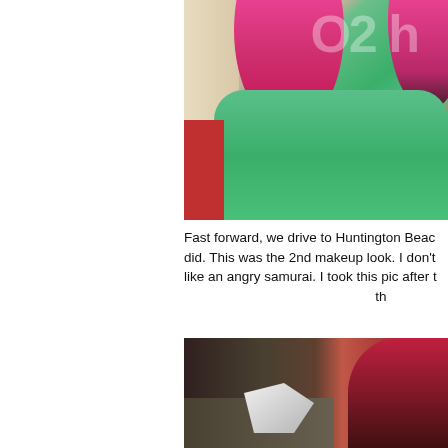[Figure (photo): Close-up photo of a person with bright pink/red hair wearing a green top, seated in a red chair with curtains in background. Watermark text visible in upper right corner.]
Fast forward, we drive to Huntington Beac did. This was the 2nd makeup look. I don't like an angry samurai. I took this pic after t th
[Figure (photo): Photo of a person with dark red hair, appears to be seated at a desk or table, with a white wing-like object visible in the foreground.]